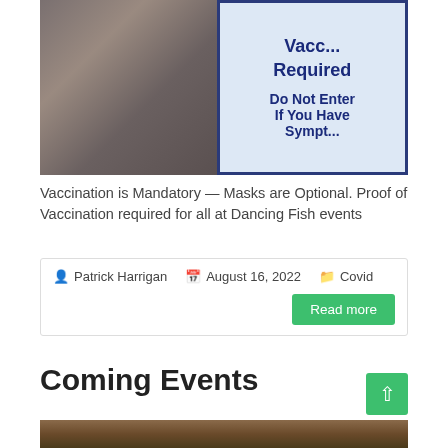[Figure (photo): A man pointing to a sign that reads 'Vaccination Required — Do Not Enter If You Have Sympt...' with blue text on a light blue background.]
Vaccination is Mandatory — Masks are Optional. Proof of Vaccination required for all at Dancing Fish events
Patrick Harrigan   August 16, 2022   Covid
Read more
Coming Events